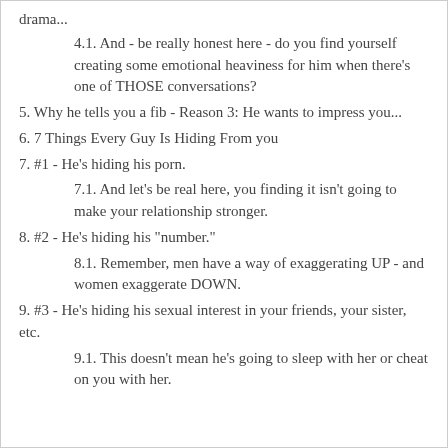drama...
4.1. And - be really honest here - do you find yourself creating some emotional heaviness for him when there's one of THOSE conversations?
5. Why he tells you a fib - Reason 3: He wants to impress you...
6. 7 Things Every Guy Is Hiding From you
7. #1 - He's hiding his porn.
7.1. And let's be real here, you finding it isn't going to make your relationship stronger.
8. #2 - He's hiding his "number."
8.1. Remember, men have a way of exaggerating UP - and women exaggerate DOWN.
9. #3 - He's hiding his sexual interest in your friends, your sister, etc.
9.1. This doesn't mean he's going to sleep with her or cheat on you with her.